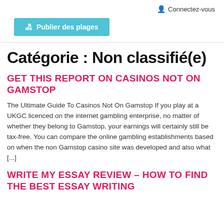🏖 Publier des plages   👤 Connectez-vous
Catégorie : Non classifié(e)
GET THIS REPORT ON CASINOS NOT ON GAMSTOP
The Ultimate Guide To Casinos Not On Gamstop If you play at a UKGC licenced on the internet gambling enterprise, no matter of whether they belong to Gamstop, your earnings will certainly still be tax-free. You can compare the online gambling establishments based on when the non Gamstop casino site was developed and also what [...]
WRITE MY ESSAY REVIEW – HOW TO FIND THE BEST ESSAY WRITING SERVICE